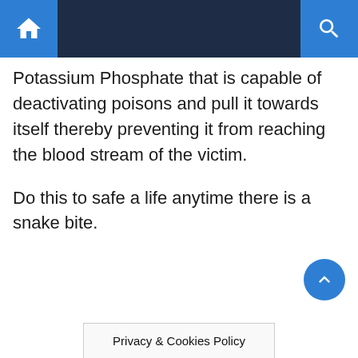Potassium Phosphate that is capable of deactivating poisons and pull it towards itself thereby preventing it from reaching the blood stream of the victim.
Do this to safe a life anytime there is a snake bite.
Privacy & Cookies Policy